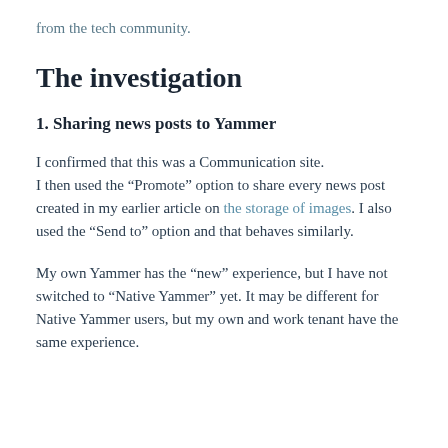from the tech community.
The investigation
1. Sharing news posts to Yammer
I confirmed that this was a Communication site. I then used the “Promote” option to share every news post created in my earlier article on the storage of images. I also used the “Send to” option and that behaves similarly.
My own Yammer has the “new” experience, but I have not switched to “Native Yammer” yet. It may be different for Native Yammer users, but my own and work tenant have the same experience.